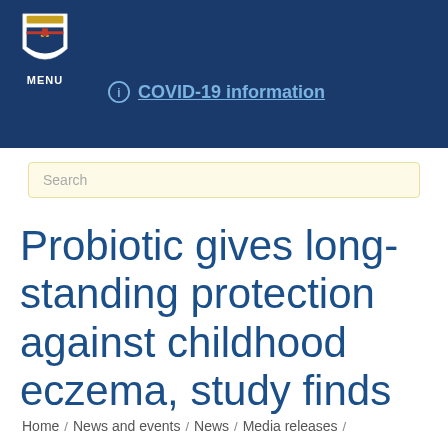MENU | COVID-19 information
Search
Probiotic gives long-standing protection against childhood eczema, study finds
Home / News and events / News / Media releases /